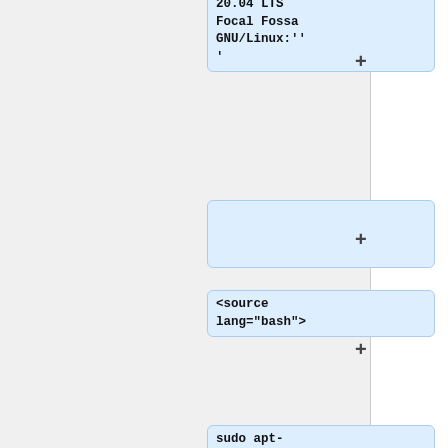20.04 LTS Focal Fossa GNU/Linux:'' '
<source lang="bash">
sudo apt-get install python3-jinja2 python3-lxml python3-owslib python3-pycsw python3-pygments python3-